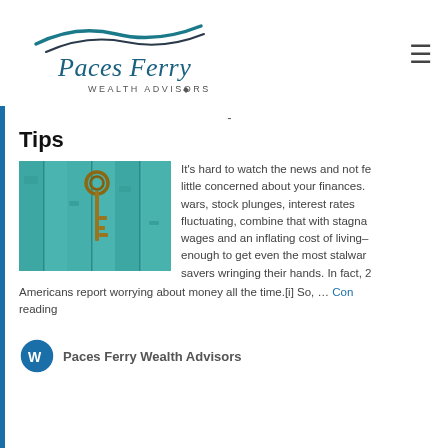[Figure (logo): Paces Ferry Wealth Advisors logo with teal wave graphic above the text]
-
Tips
[Figure (photo): Teal/turquoise weathered wooden door or fence with an old ornate key hanging on it]
It's hard to watch the news and not feel a little concerned about your finances. Trade wars, stock plunges, interest rates fluctuating, combine that with stagnant wages and an inflating cost of living–it's enough to get even the most stalwart savers wringing their hands. In fact, 2⁄3 Americans report worrying about money all the time.[i] So, … Continue reading
Paces Ferry Wealth Advisors